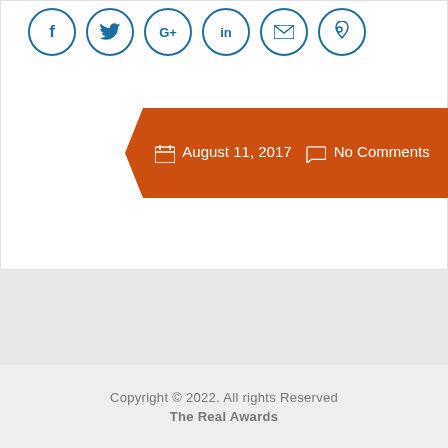[Figure (other): Social media sharing icons in circles: Facebook (f), Twitter (bird), Google+ (G+), LinkedIn (in), Email (envelope), Pinterest (p)]
August 11, 2017   No Comments
[Figure (other): Pagination buttons: filled blue circle (current page 1) and outlined circle with number 2]
Copyright © 2022. All rights Reserved
The Real Awards